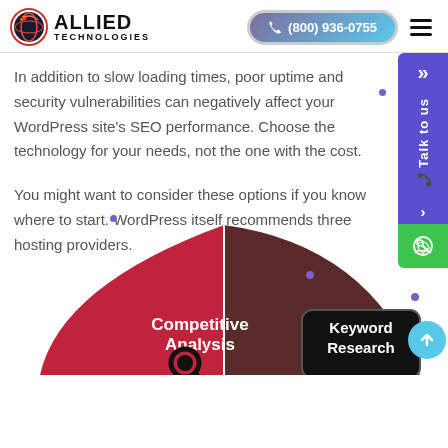Allied Technologies | (800) 936-0755
In addition to slow loading times, poor uptime and security vulnerabilities can negatively affect your WordPress site's SEO performance. Choose the technology for your needs, not the one with the cost.
You might want to consider these options if you know where to start. WordPress itself recommends three hosting providers.
[Figure (pie-chart): Partial pie/wheel chart showing segments: Competitive Analysis (red segment with magnifying glass icon) and Keyword Research (dark brown segment with rounded rectangle label), with a purple segment and orange/yellow segment partially visible at bottom edges.]